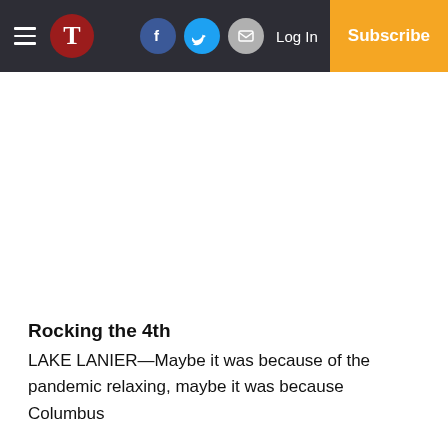T | Facebook | Twitter | Email | Log In | Subscribe
Rocking the 4th
LAKE LANIER—Maybe it was because of the pandemic relaxing, maybe it was because Columbus